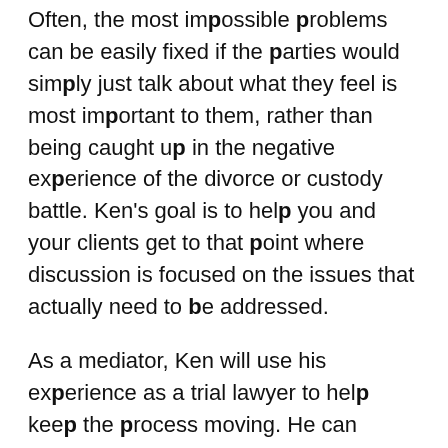Often, the most impossible problems can be easily fixed if the parties would simply just talk about what they feel is most important to them, rather than being caught up in the negative experience of the divorce or custody battle. Ken's goal is to help you and your clients get to that point where discussion is focused on the issues that actually need to be addressed.
As a mediator, Ken will use his experience as a trial lawyer to help keep the process moving. He can propose creative strategies that allow the parties to think critically about the underlying issues that are present in their case. He can help you reduce the conflict or animosity that the sides have toward one another, and instead work together toward a common goal.